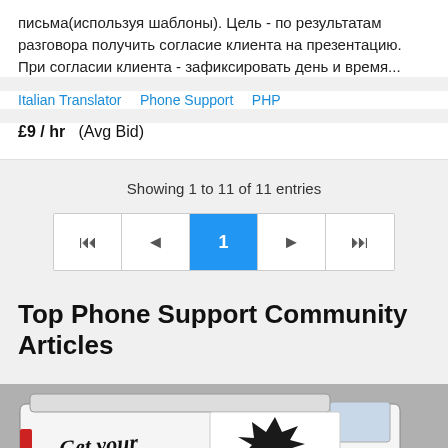письма(используя шаблоны). Цель - по результатам разговора получить согласие клиента на презентацию. При согласии клиента - зафиксировать день и время...
Italian Translator   Phone Support   PHP
£9 / hr  (Avg Bid)
Showing 1 to 11 of 11 entries
[Figure (other): Pagination control with buttons: first, previous, page 1 (active/blue), next, last]
Top Phone Support Community Articles
[Figure (photo): Photo of a white van with black lettering reading 'Get Your' and a starburst design, parked outdoors]